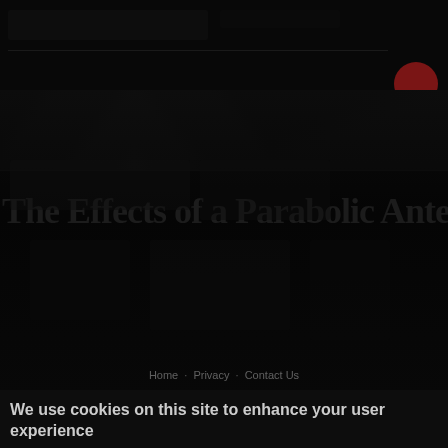[Figure (screenshot): Dark website screenshot showing a heavily darkened/nearly black page with a faint large title text visible across the middle area, and a red circular icon in the top-right of the header bar.]
Home · Privacy · Contact Us
We use cookies on this site to enhance your user experience